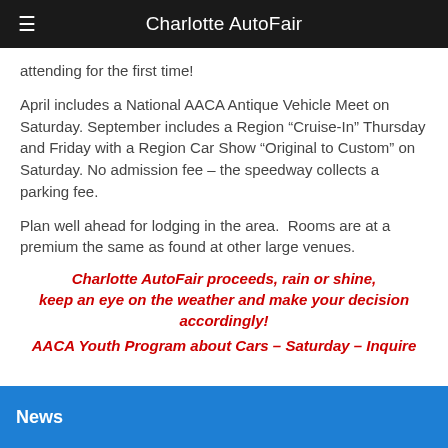Charlotte AutoFair
attending for the first time!
April includes a National AACA Antique Vehicle Meet on Saturday. September includes a Region “Cruise-In” Thursday and Friday with a Region Car Show “Original to Custom” on Saturday. No admission fee – the speedway collects a parking fee.
Plan well ahead for lodging in the area.  Rooms are at a premium the same as found at other large venues.
Charlotte AutoFair proceeds, rain or shine, keep an eye on the weather and make your decision accordingly! AACA Youth Program about Cars – Saturday – Inquire
News